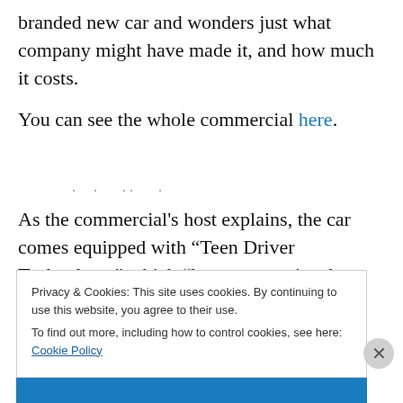branded new car and wonders just what company might have made it, and how much it costs.
You can see the whole commercial here.
. . .. .
As the commercial's host explains, the car comes equipped with “Teen Driver Technology,” which “lets parents view how their teens are driving.” There is no
Privacy & Cookies: This site uses cookies. By continuing to use this website, you agree to their use.
To find out more, including how to control cookies, see here: Cookie Policy